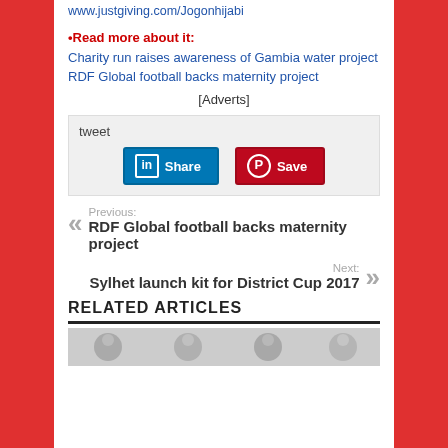www.justgiving.com/Jogonhijabi
•Read more about it:
Charity run raises awareness of Gambia water project
RDF Global football backs maternity project
[Adverts]
tweet
[Figure (screenshot): LinkedIn Share button and Pinterest Save button]
Previous: RDF Global football backs maternity project
Next: Sylhet launch kit for District Cup 2017
RELATED ARTICLES
[Figure (photo): Related articles image strip at bottom]